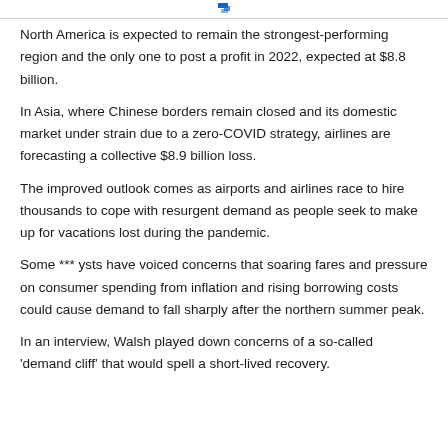[logo/header bar]
North America is expected to remain the strongest-performing region and the only one to post a profit in 2022, expected at $8.8 billion.
In Asia, where Chinese borders remain closed and its domestic market under strain due to a zero-COVID strategy, airlines are forecasting a collective $8.9 billion loss.
The improved outlook comes as airports and airlines race to hire thousands to cope with resurgent demand as people seek to make up for vacations lost during the pandemic.
Some *** ysts have voiced concerns that soaring fares and pressure on consumer spending from inflation and rising borrowing costs could cause demand to fall sharply after the northern summer peak.
In an interview, Walsh played down concerns of a so-called 'demand cliff' that would spell a short-lived recovery.